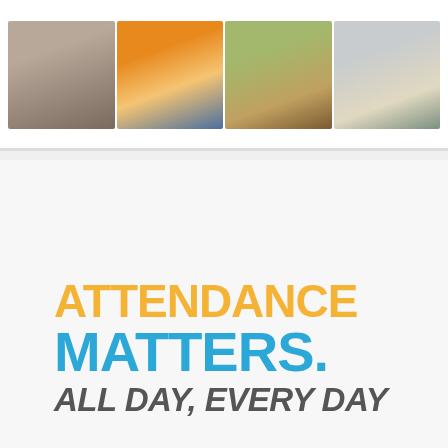[Figure (photo): Grid of four school event photos: child with trophy/flowers, basketball game in gym, display table with models, gym activity scene]
[Figure (infographic): Attendance Matters. All Day, Every Day — bold text graphic with yellow, blue, and dark grey text on light background]